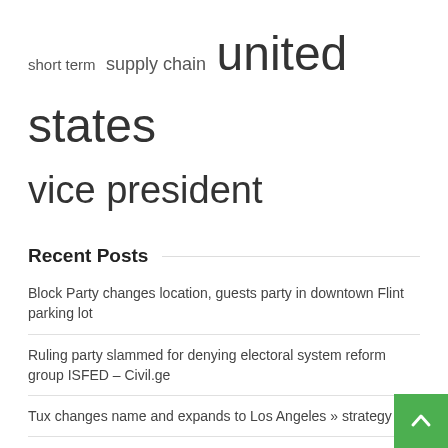short term  supply chain  united states  vice president
Recent Posts
Block Party changes location, guests party in downtown Flint parking lot
Ruling party slammed for denying electoral system reform group ISFED – Civil.ge
Tux changes name and expands to Los Angeles » strategy
Federal Civilian Executive Alex Forti Joins Amyx as Director of Business Development; CEO William Schaefer quoted
Choosing a Business Structure | High Swartz LLP